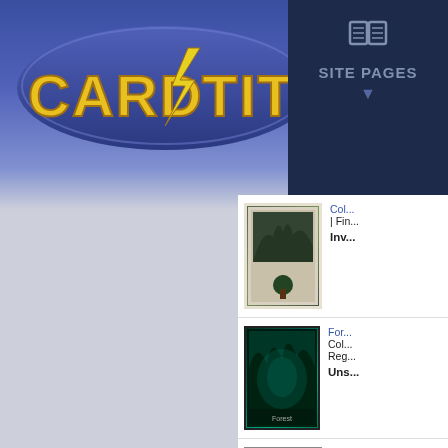[Figure (screenshot): CardTitan website screenshot showing logo on left with blue banner header and Site Pages navigation on right, with a list of Forest card product listings along the right side]
SITE PAGES
Color: | Fin
Inva
For
Color:
Reg
Uns
For
Color:
| Fin
Co
For
Color:
Foi
Od